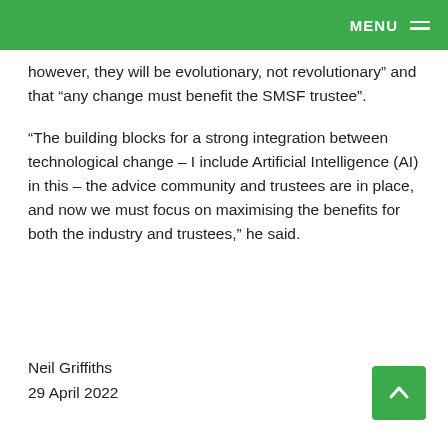MENU
however, they will be evolutionary, not revolutionary” and that “any change must benefit the SMSF trustee”.
“The building blocks for a strong integration between technological change – I include Artificial Intelligence (AI) in this – the advice community and trustees are in place, and now we must focus on maximising the benefits for both the industry and trustees,” he said.
Neil Griffiths
29 April 2022